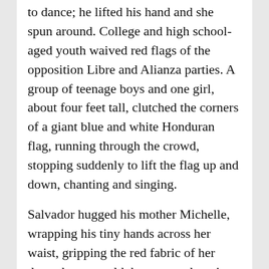to dance; he lifted his hand and she spun around. College and high school-aged youth waived red flags of the opposition Libre and Alianza parties. A group of teenage boys and one girl, about four feet tall, clutched the corners of a giant blue and white Honduran flag, running through the crowd, stopping suddenly to lift the flag up and down, chanting and singing.
Salvador hugged his mother Michelle, wrapping his tiny hands across her waist, gripping the red fabric of her dress; he was cold, hungry, and getting sleepy, he complained, his face pressed against her navel. “Under Juan Orlando Hernández, health insurance premiums have skyrocketed,” she explained. “The doctors are on strike because they haven’t been paid